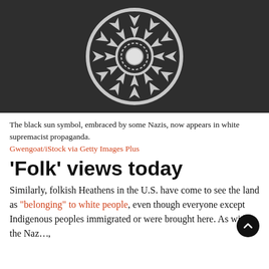[Figure (photo): Dark gray background with a white Black Sun (Schwarze Sonne) symbol — a circular rune-like design with twelve radial arms — photographed from above on a slate or chalkboard surface.]
The black sun symbol, embraced by some Nazis, now appears in white supremacist propaganda.
Gwengoat/iStock via Getty Images Plus
‘Folk’ views today
Similarly, folkish Heathens in the U.S. have come to see the land as “belonging” to white people, even though everyone except Indigenous peoples immigrated or were brought here. As with the Naz…,